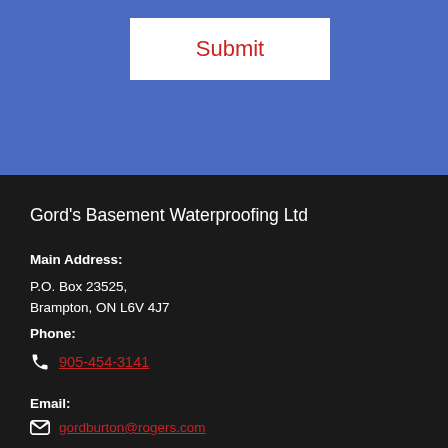Submit
Gord's Basement Waterproofing Ltd
Main Address:
P.O. Box 23525,
Brampton, ON L6V 4J7
Phone:
905-454-3141
Email:
gordburton@rogers.com
Service Area
Brampton